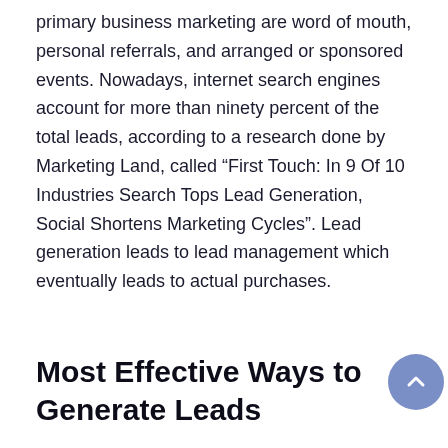primary business marketing are word of mouth, personal referrals, and arranged or sponsored events. Nowadays, internet search engines account for more than ninety percent of the total leads, according to a research done by Marketing Land, called “First Touch: In 9 Of 10 Industries Search Tops Lead Generation, Social Shortens Marketing Cycles”. Lead generation leads to lead management which eventually leads to actual purchases.
Most Effective Ways to Generate Leads